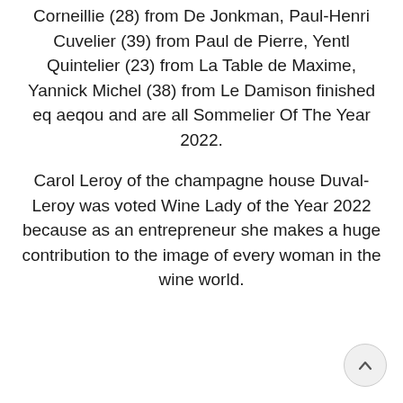Corneillie (28) from De Jonkman, Paul-Henri Cuvelier (39) from Paul de Pierre, Yentl Quintelier (23) from La Table de Maxime, Yannick Michel (38) from Le Damison finished eq aeqou and are all Sommelier Of The Year 2022.
Carol Leroy of the champagne house Duval-Leroy was voted Wine Lady of the Year 2022 because as an entrepreneur she makes a huge contribution to the image of every woman in the wine world.